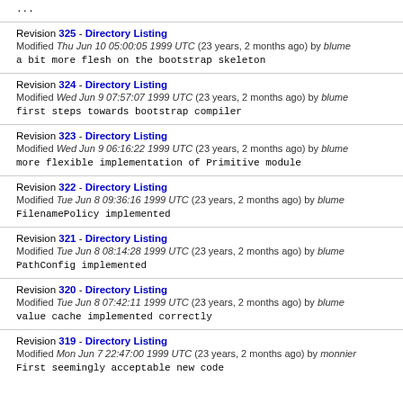Revision 325 - Directory Listing
Modified Thu Jun 10 05:00:05 1999 UTC (23 years, 2 months ago) by blume
a bit more flesh on the bootstrap skeleton
Revision 324 - Directory Listing
Modified Wed Jun 9 07:57:07 1999 UTC (23 years, 2 months ago) by blume
first steps towards bootstrap compiler
Revision 323 - Directory Listing
Modified Wed Jun 9 06:16:22 1999 UTC (23 years, 2 months ago) by blume
more flexible implementation of Primitive module
Revision 322 - Directory Listing
Modified Tue Jun 8 09:36:16 1999 UTC (23 years, 2 months ago) by blume
FilenamePolicy implemented
Revision 321 - Directory Listing
Modified Tue Jun 8 08:14:28 1999 UTC (23 years, 2 months ago) by blume
PathConfig implemented
Revision 320 - Directory Listing
Modified Tue Jun 8 07:42:11 1999 UTC (23 years, 2 months ago) by blume
value cache implemented correctly
Revision 319 - Directory Listing
Modified Mon Jun 7 22:47:00 1999 UTC (23 years, 2 months ago) by monnier
First seemingly acceptable new code